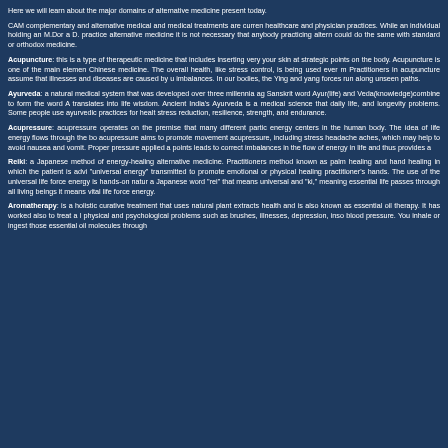Here we will learn about the major domains of alternative medicine present today.
CAM complementary and alternative medical and medical treatments are currently healthcare and physician practices. While an individual holding an M.Dor a D. practice alternative medicine it is not necessary that anybody practicing altern could do the same with standard or orthodox medicine.
Acupuncture: this is a type of therapeutic medicine that includes inserting very your skin at strategic points on the body. Acupuncture is one of the main elemen Chinese medicine. The overall health, like stress control, is being used ever m Practitioners in acupuncture assume that illnesses and diseases are caused by u imbalances. In our bodies, the Ying and yang forces run along unseen paths.
Ayurveda: a natural medical system that was developed over three millennia ag Sanskrit word Ayur(life) and Veda(knowledge)combine to form the word A translates into life wisdom. Ancient India's Ayurveda is a medical science that daily life, and longevity problems. Some people use ayurvedic practices for healt stress reduction, resilience, strength, and endurance.
Acupressure: acupressure operates on the premise that many different partic energy centers in the human body. The idea of life energy flows through the bo acupressure aims to promote movement acupressure, including stress headache aches, which may help to avoid nausea and vomit. Proper pressure applied a points leads to correct imbalances in the flow of energy in life and thus provides a
Reiki: a Japanese method of energy-healing alternative medicine. Practitioners method known as palm healing and hand healing in which the patient is advi "universal energy" transmitted to promote emotional or physical healing practitioner's hands. The use of the universal life force energy is hands-on natura a Japanese word "rei" that means universal and "ki," meaning essential life passes through all living beings it means vital life force energy.
Aromatherapy: is a holistic curative treatment that uses natural plant extracts health and is also known as essential oil therapy. It has worked also to treat a physical and psychological problems such as brushes, illnesses, depression, inso blood pressure. You inhale or ingest those essential oil molecules through